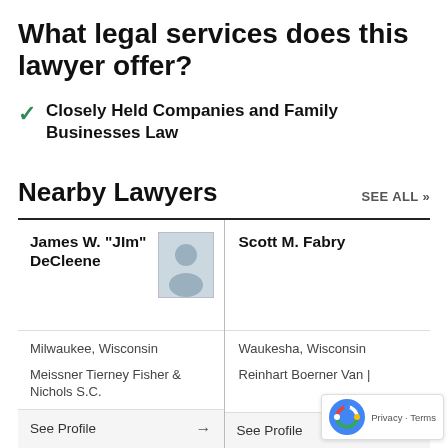What legal services does this lawyer offer?
Closely Held Companies and Family Businesses Law
Nearby Lawyers
| Lawyer 1 | Lawyer 2 |
| --- | --- |
| James W. "JIm" DeCleene | Scott M. Fabry |
| Milwaukee, Wisconsin | Waukesha, Wisconsin |
| Meissner Tierney Fisher & Nichols S.C. | Reinhart Boerner Van | |
| See Profile → | See Profile |